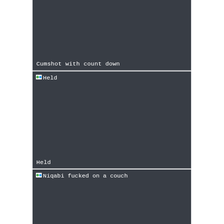[Figure (screenshot): Dark gray card block with text label 'Cumshot with count down' at bottom left]
Cumshot with count down
[Figure (screenshot): Dark gray card block with thumbnail icon and text 'Held' at top left, and label 'Held' at bottom left]
Held
[Figure (screenshot): Dark gray card block with thumbnail icon and text 'Niqabi fucked on a couch' at top left]
Niqabi fucked on a couch